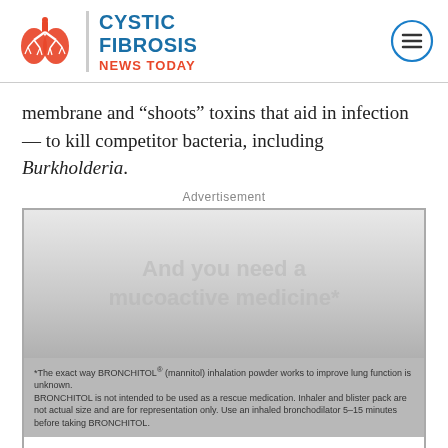[Figure (logo): Cystic Fibrosis News Today logo with red lungs illustration and blue/red text]
membrane and “shoots” toxins that aid in infection — to kill competitor bacteria, including Burkholderia.
Advertisement
[Figure (infographic): Advertisement for BRONCHITOL (mannitol) inhalation powder. Gray gradient background with watermark text 'And you need a mucoactive medicine*'. Fine print: '*The exact way BRONCHITOL® (mannitol) inhalation powder works to improve lung function is unknown. BRONCHITOL is not intended to be used as a rescue medication. Inhaler and blister pack are not actual size and are for representation only. Use an inhaled bronchodilator 5–15 minutes before taking BRONCHITOL.' Below: 'About BRONCHITOL® (mannitol) inhalation powder' in blue bold, followed by 'BRONCHITOL is a prescription medicine that is used along with other therapies to improve lung']